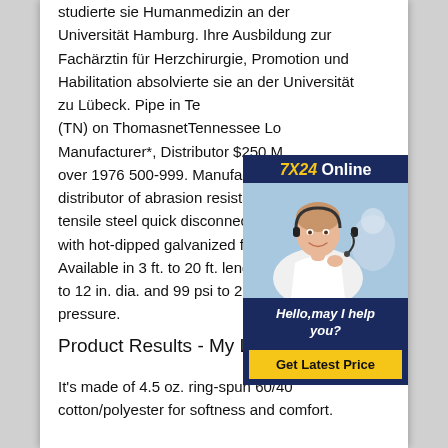studierte sie Humanmedizin an der Universität Hamburg. Ihre Ausbildung zur Fachärztin für Herzchirurgie, Promotion und Habilitation absolvierte sie an der Universität zu Lübeck. Pipe in Ten (TN) on ThomasnetTennessee Lo Manufacturer*, Distributor $250 M over 1976 500-999. Manufacturer distributor of abrasion resistant a tensile steel quick disconnect (QD with hot-dipped galvanized finishe Available in 3 ft. to 20 ft. length w to 12 in. dia. and 99 psi to 290 ps pressure.
[Figure (other): Online chat support advertisement. Dark navy background with '7X24 Online' heading in yellow and white. Photo of a smiling woman with a headset. Text: 'Hello, may I help you?' with a yellow 'Get Latest Price' button.]
Product Results - My Logo HQ
It's made of 4.5 oz. ring-spun 60/40 cotton/polyester for softness and comfort.